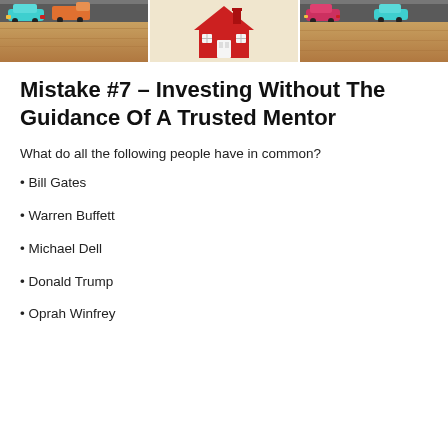[Figure (photo): Three-panel banner image showing miniature toy cars on wooden surfaces and a red toy house on a cream background]
Mistake #7 – Investing Without The Guidance Of A Trusted Mentor
What do all the following people have in common?
• Bill Gates
• Warren Buffett
• Michael Dell
• Donald Trump
• Oprah Winfrey